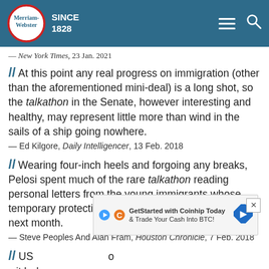Merriam-Webster SINCE 1828
— New York Times, 23 Jan. 2021
// At this point any real progress on immigration (other than the aforementioned mini-deal) is a long shot, so the talkathon in the Senate, however interesting and healthy, may represent little more than wind in the sails of a ship going nowhere.
— Ed Kilgore, Daily Intelligencer, 13 Feb. 2018
// Wearing four-inch heels and forgoing any breaks, Pelosi spent much of the rare talkathon reading personal letters from the young immigrants whose temporary protection from deportation is set to expire next month.
— Steve Peoples And Alan Fram, Houston Chronicle, 7 Feb. 2018
// US [partial, obscured by ad]
[Figure (screenshot): Advertisement overlay: GetStarted with Coinhip Today & Trade Your Cash Into BTC! with crypto icons and directional arrow icon, and a close (x) button]